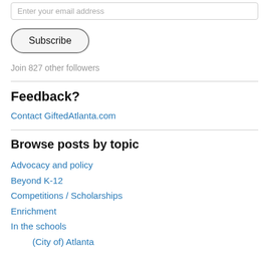Enter your email address
Subscribe
Join 827 other followers
Feedback?
Contact GiftedAtlanta.com
Browse posts by topic
Advocacy and policy
Beyond K-12
Competitions / Scholarships
Enrichment
In the schools
(City of) Atlanta